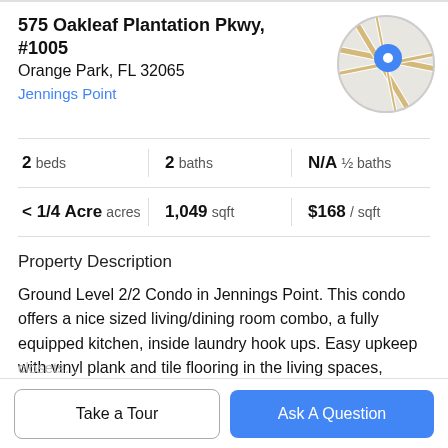575 Oakleaf Plantation Pkwy, #1005
Orange Park, FL 32065
Jennings Point
[Figure (map): Circular map thumbnail showing street map with a blue location pin marker]
| Beds | Baths | Half Baths | Lot | Sqft | Price/sqft |
| --- | --- | --- | --- | --- | --- |
| 2 beds | 2 baths | N/A ½ baths | < 1/4 Acre acres | 1,049 sqft | $168 / sqft |
Property Description
Ground Level 2/2 Condo in Jennings Point. This condo offers a nice sized living/dining room combo, a fully equipped kitchen, inside laundry hook ups. Easy upkeep with vinyl plank and tile flooring in the living spaces, carpet in the bedrooms/closet. Both bedrooms have walk in
Take a Tour
Ask A Question